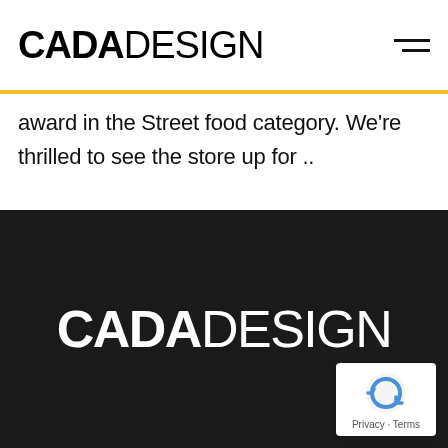CADADESIGN
award in the Street food category. We're thrilled to see the store up for ..
[Figure (logo): CADADESIGN logo in white text on dark/black background footer section]
[Figure (other): Google reCAPTCHA badge with privacy and terms links]